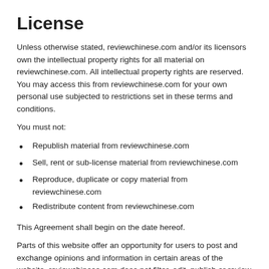License
Unless otherwise stated, reviewchinese.com and/or its licensors own the intellectual property rights for all material on reviewchinese.com. All intellectual property rights are reserved. You may access this from reviewchinese.com for your own personal use subjected to restrictions set in these terms and conditions.
You must not:
Republish material from reviewchinese.com
Sell, rent or sub-license material from reviewchinese.com
Reproduce, duplicate or copy material from reviewchinese.com
Redistribute content from reviewchinese.com
This Agreement shall begin on the date hereof.
Parts of this website offer an opportunity for users to post and exchange opinions and information in certain areas of the website. reviewchinese.com does not filter, edit, publish or review Comments prior to their presence on the website. Comments do not reflect the views and opinions of reviewchinese.com, its agents and/or affiliates. Comments reflect the views and opinions